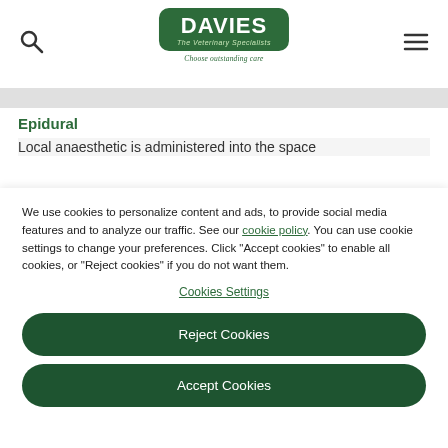[Figure (logo): Davies The Veterinary Specialists logo with 'Choose outstanding care' tagline]
Epidural
Local anaesthetic is administered into the space
We use cookies to personalize content and ads, to provide social media features and to analyze our traffic. See our cookie policy. You can use cookie settings to change your preferences. Click "Accept cookies" to enable all cookies, or "Reject cookies" if you do not want them.
Cookies Settings
Reject Cookies
Accept Cookies